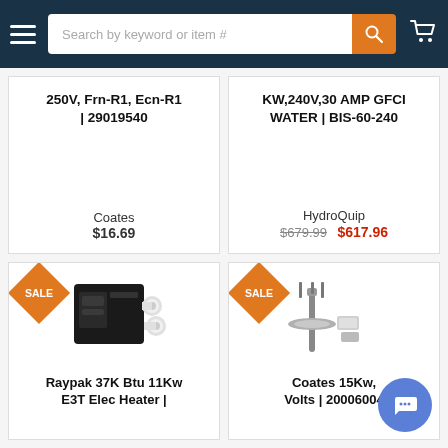Search by keyword or item #
250V, Frn-R1, Ecn-R1 | 29019540
Coates
$16.69
KW,240V,30 AMP GFCI WATER | BIS-60-240
HydroQuip
$679.99  $617.96
[Figure (photo): Raypak electric heater unit, black box with white fittings]
Raypak 37K Btu 11Kw E3T Elec Heater |
[Figure (photo): Coates heating element rod with gasket and hardware]
Coates 15Kw, Volts | 20006004